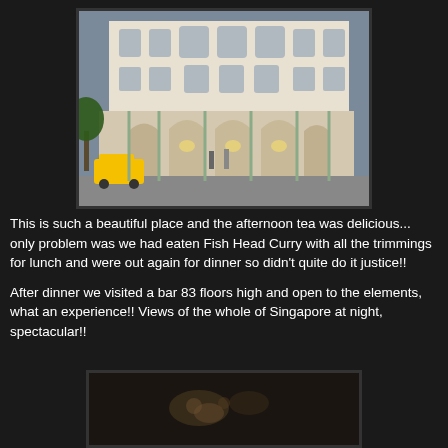[Figure (photo): Exterior of an ornate colonial-style building with white facade, arched colonnades, chandeliers visible inside, decorative ironwork. A yellow taxi is parked in front, and people walk along the street.]
This is such a beautiful place and the afternoon tea was delicious... only problem was we had eaten Fish Head Curry with all the trimmings for lunch and were out again for dinner so didn't quite do it justice!!
After dinner we visited a bar 83 floors high and open to the elements, what an experience!! Views of the whole of Singapore at night, spectacular!!
[Figure (photo): Dark nighttime photo, partially visible, showing dim lights in the distance — presumably the view from the rooftop bar 83 floors high in Singapore.]